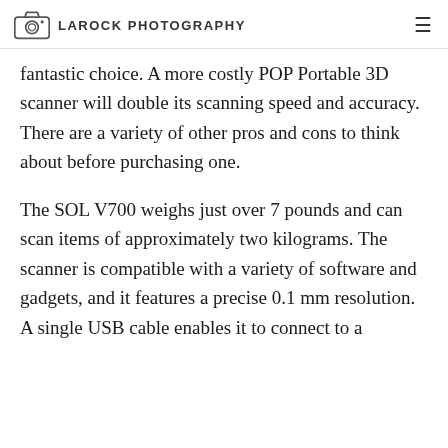LAROCK PHOTOGRAPHY
fantastic choice. A more costly POP Portable 3D scanner will double its scanning speed and accuracy. There are a variety of other pros and cons to think about before purchasing one.
The SOL V700 weighs just over 7 pounds and can scan items of approximately two kilograms. The scanner is compatible with a variety of software and gadgets, and it features a precise 0.1 mm resolution. A single USB cable enables it to connect to a